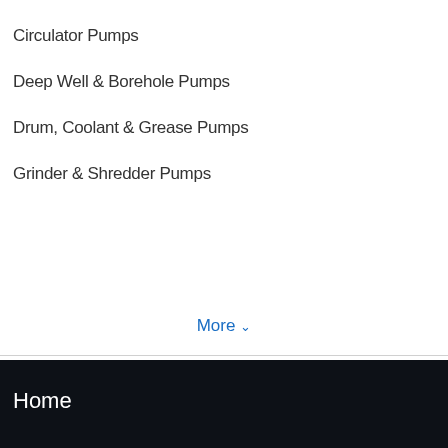Circulator Pumps
Deep Well & Borehole Pumps
Drum, Coolant & Grease Pumps
Grinder & Shredder Pumps
More ∨
Home